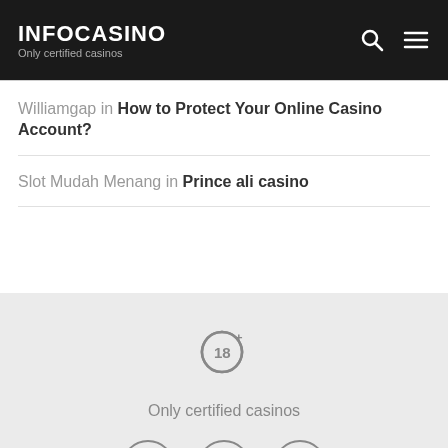INFOCASINO Only certified casinos
Williamgap in How to Protect Your Online Casino Account?
Slot Mudah Menang in Prince ali casino
[Figure (other): 18+ age restriction circular icon]
Only certified casinos
[Figure (other): Social media icons: Facebook, Twitter, YouTube circles, and a pink scroll-to-top arrow button]